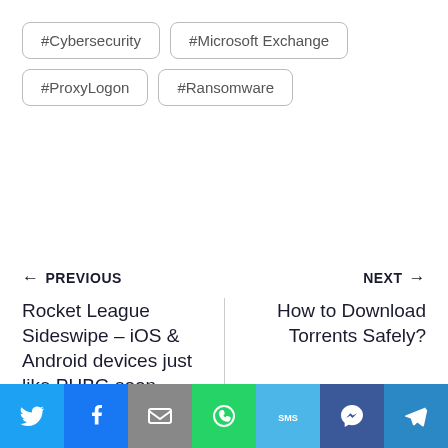#Cybersecurity
#Microsoft Exchange
#ProxyLogon
#Ransomware
← PREVIOUS
NEXT →
Rocket League Sideswipe – iOS & Android devices just like PUBG soon
How to Download Torrents Safely?
[Figure (infographic): Social share bar with Twitter, Facebook, Email, WhatsApp, SMS, Messenger, and Telegram icons]